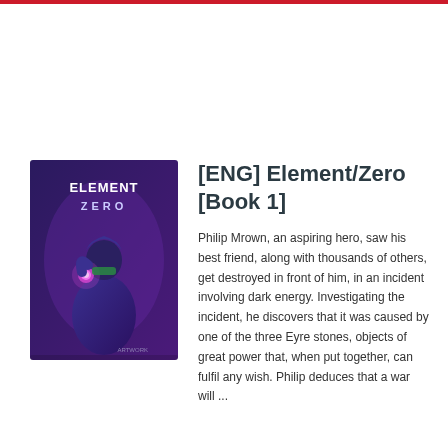[Figure (illustration): Book cover for Element/Zero showing a figure in a blue hoodie with glowing purple energy, title text 'ELEMENT ZERO' in white stylized font on dark purple background]
[ENG] Element/Zero [Book 1]
Philip Mrown, an aspiring hero, saw his best friend, along with thousands of others, get destroyed in front of him, in an incident involving dark energy. Investigating the incident, he discovers that it was caused by one of the three Eyre stones, objects of great power that, when put together, can fulfil any wish. Philip deduces that a war will ...